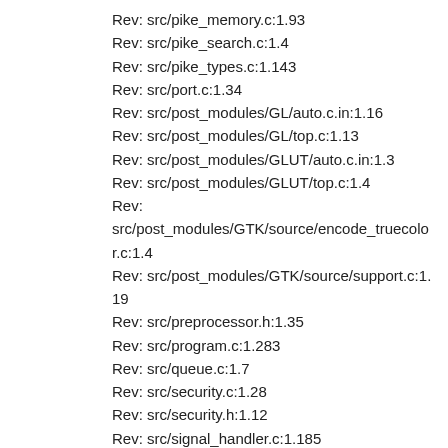Rev: src/pike_memory.c:1.93
Rev: src/pike_search.c:1.4
Rev: src/pike_types.c:1.143
Rev: src/port.c:1.34
Rev: src/post_modules/GL/auto.c.in:1.16
Rev: src/post_modules/GL/top.c:1.13
Rev: src/post_modules/GLUT/auto.c.in:1.3
Rev: src/post_modules/GLUT/top.c:1.4
Rev:
src/post_modules/GTK/source/encode_truecolor.c:1.4
Rev: src/post_modules/GTK/source/support.c:1.19
Rev: src/preprocessor.h:1.35
Rev: src/program.c:1.283
Rev: src/queue.c:1.7
Rev: src/security.c:1.28
Rev: src/security.h:1.12
Rev: src/signal_handler.c:1.185
Rev: src/smartlink.c:1.11
Rev: src/stralloc.c:1.109
Rev: src/svalue.c:1.89
Rev: src/svalue.h:1.71
Rev: src/threads.c:1.147
Rev: src/threads.h:1.107
2000-11-29